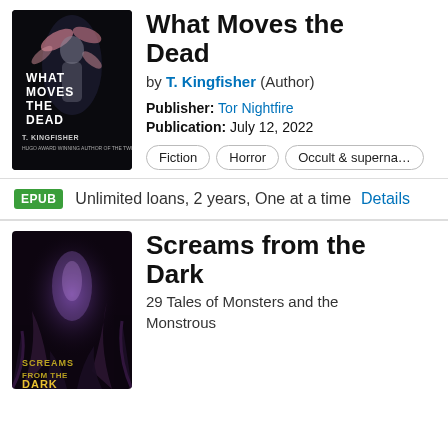[Figure (illustration): Book cover for 'What Moves the Dead' by T. Kingfisher — dark background with stylized figure and feathers]
What Moves the Dead
by T. Kingfisher (Author)
Publisher: Tor Nightfire
Publication: July 12, 2022
Fiction
Horror
Occult & superna…
EPUB  Unlimited loans, 2 years, One at a time  Details
[Figure (illustration): Book cover for 'Screams from the Dark' — dark background with monstrous creature and purple light]
Screams from the Dark
29 Tales of Monsters and the Monstrous